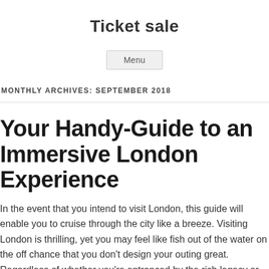Ticket sale
Menu
MONTHLY ARCHIVES: SEPTEMBER 2018
Your Handy-Guide to an Immersive London Experience
In the event that you intend to visit London, this guide will enable you to cruise through the city like a breeze. Visiting London is thrilling, yet you may feel like fish out of the water on the off chance that you don't design your outing great. Regardless of whether you're entranced by the rich legacy or wish to eat in appetizing dishes,